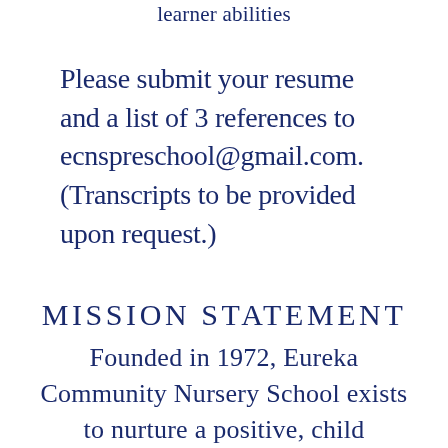learner abilities
Please submit your resume and a list of 3 references to ecnspreschool@gmail.com. (Transcripts to be provided upon request.)
MISSION STATEMENT
Founded in 1972, Eureka Community Nursery School exists to nurture a positive, child focused, educational experience. Based in Christian ideals, our